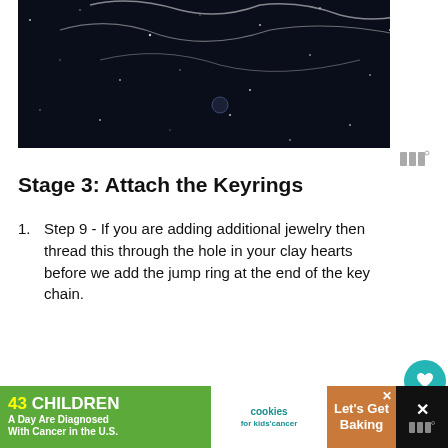[Figure (photo): Dark starry space background with white hand-drawn line art illustration, partially visible at top of page]
[Figure (logo): Watermark logo with three vertical bars and degree symbol]
Stage 3: Attach the Keyrings
Step 9 - If you are adding additional jewelry then thread this through the hole in your clay hearts before we add the jump ring at the end of the key chain.
[Figure (photo): Two hands on yellow background with white paper, holding small clay hearts; pencil and red clay pieces in background]
[Figure (infographic): Advertisement banner: '43 CHILDREN A Day Are Diagnosed With Cancer in the U.S.' with cookies for kids cancer and Let's Get Baking logos]